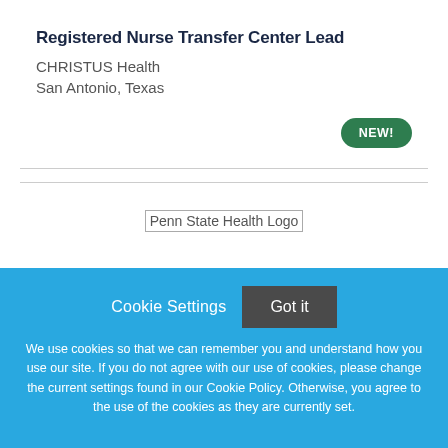Registered Nurse Transfer Center Lead
CHRISTUS Health
San Antonio, Texas
[Figure (other): NEW! badge — green rounded pill button]
[Figure (logo): Penn State Health Logo placeholder image]
Cookie Settings   Got it
We use cookies so that we can remember you and understand how you use our site. If you do not agree with our use of cookies, please change the current settings found in our Cookie Policy. Otherwise, you agree to the use of the cookies as they are currently set.